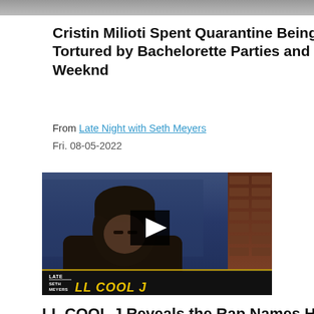[Figure (screenshot): Top portion of a video thumbnail, cropped at the top of the page]
Cristin Milioti Spent Quarantine Being Tortured by Bachelorette Parties and The Weeknd
From Late Night with Seth Meyers
Fri. 08-05-2022
[Figure (screenshot): Video thumbnail showing LL COOL J on Late Night with Seth Meyers. A man wearing a dark beanie hat and dark jacket is visible. A black play button overlay is centered on the image. A lower bar shows the Late Night with Seth Meyers logo and 'LL COOL J' in gold italic text.]
LL COOL J Reveals the Rap Names He